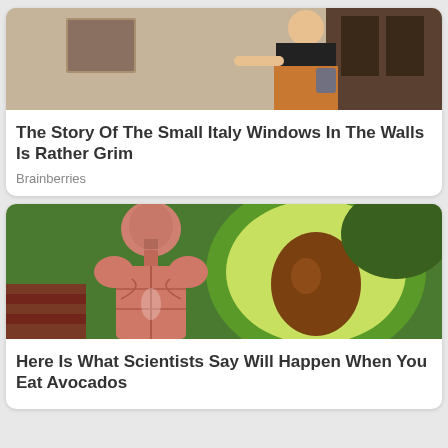[Figure (photo): A person in a black top and orange/brown skirt standing near an old stone wall in Italy, pointing at a small window.]
The Story Of The Small Italy Windows In The Walls Is Rather Grim
Brainberries
[Figure (photo): A composite image showing an anatomical human figure without skin (showing muscles) next to a halved avocado with the pit visible, set against a green avocado background.]
Here Is What Scientists Say Will Happen When You Eat Avocados